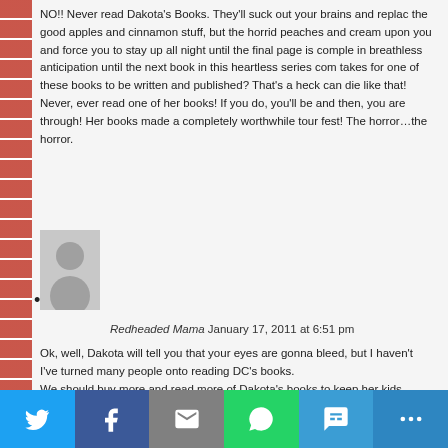NO!! Never read Dakota's Books. They'll suck out your brains and replace the good apples and cinnamon stuff, but the horrid peaches and cream upon you and force you to stay up all night until the final page is complete in breathless anticipation until the next book in this heartless series comes takes for one of these books to be written and published? That's a heck can die like that! Never, ever read one of her books! If you do, you'll be and then, you are through! Her books made a completely worthwhile tour fest! The horror…the horror.
[Figure (other): Link button and user avatar placeholder image]
Redheaded Mama January 17, 2011 at 6:51 pm
Ok, well, Dakota will tell you that your eyes are gonna bleed, but I haven't I've turned many people onto reading DC's books.
We should buy more and read more of Dakota's books to keep her kids
Dakota, I said shoes, despite the discussion of cosmetics last night.
Oh, and it will help keep her fabulous geeky hubby in toys, you know, th
[Figure (infographic): Social sharing bar with Twitter, Facebook, Email, WhatsApp, SMS, and More buttons]